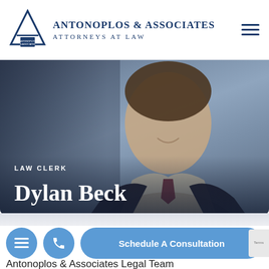Antonoplos & Associates Attorneys at Law
[Figure (photo): Professional headshot of Dylan Beck, law clerk, smiling young man in dark suit and tie, gray/blue background]
LAW CLERK
Dylan Beck
[Figure (infographic): Bottom action bar with hamburger menu button (circle), phone button (circle), and Schedule A Consultation pill button, all in blue]
Antonoplos & Associates Legal Team